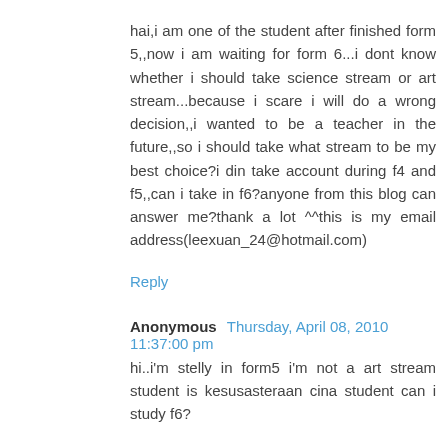hai,i am one of the student after finished form 5,,now i am waiting for form 6...i dont know whether i should take science stream or art stream...because i scare i will do a wrong decision,,i wanted to be a teacher in the future,,so i should take what stream to be my best choice?i din take account during f4 and f5,,can i take in f6?anyone from this blog can answer me?thank a lot ^^this is my email address(leexuan_24@hotmail.com)
Reply
Anonymous  Thursday, April 08, 2010 11:37:00 pm
hi..i'm stelly in form5 i'm not a art stream student is kesusasteraan cina student can i study f6?
Reply
Anonymous  Thursday, April 08, 2010 11:50:00 pm
akaun and Pengajian Perniagaan wht diffrent is that
Reply